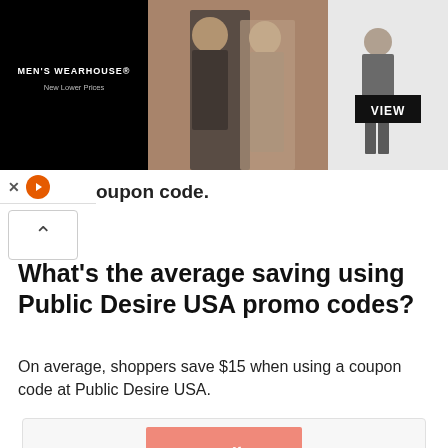[Figure (photo): Men's Wearhouse advertisement banner showing a couple in formal wear and a man in a suit, with VIEW button and New Lower Prices tagline]
coupon code.
What's the average saving using Public Desire USA promo codes?
On average, shoppers save $15 when using a coupon code at Public Desire USA.
[Figure (logo): Public Desire USA logo — pink/salmon square background with white brush-script text 'Public Desire' and 'USA' beneath]
Public Desire USA Coupons Stats